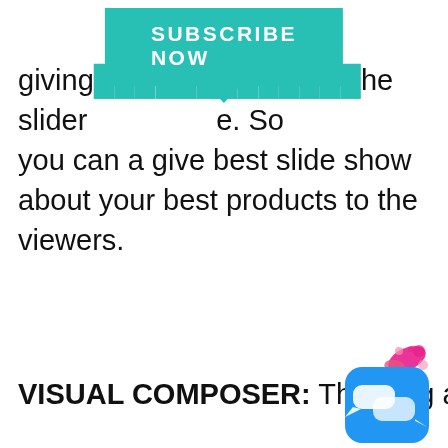[Figure (infographic): Teal SUBSCRIBE NOW banner with speech bubble pointer triangle at bottom center]
giving [obscured] the slider [obscured]. So you can a give best slide show about your best products to the viewers.
VISUAL COMPOSER: The drag and drop features of the pagebuilder that is so easy to use without even coding is available in the Visual Composer that comes with this theme. Design your pages and modify the layouts as you please with the Visual Composer
[Figure (illustration): Blue rounded square chat widget icon with pink splash decoration in top right corner]
MAIL CHIMP: This newsletter plugin is integrated with this